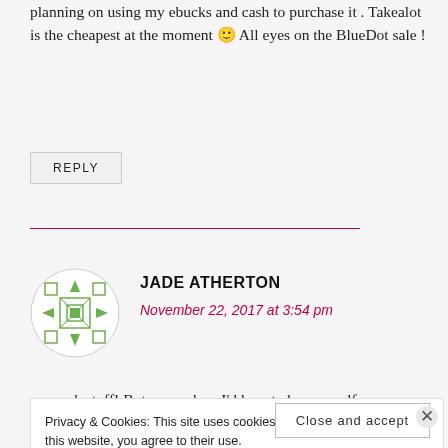planning on using my ebucks and cash to purchase it . Takealot is the cheapest at the moment 🙂 All eyes on the BlueDot sale !
REPLY
JADE ATHERTON
November 22, 2017 at 3:54 pm
so much stuff! But as much as I'd love to buy myself
Privacy & Cookies: This site uses cookies. By continuing to use this website, you agree to their use.
To find out more, including how to control cookies, see here: Cookie Policy
Close and accept